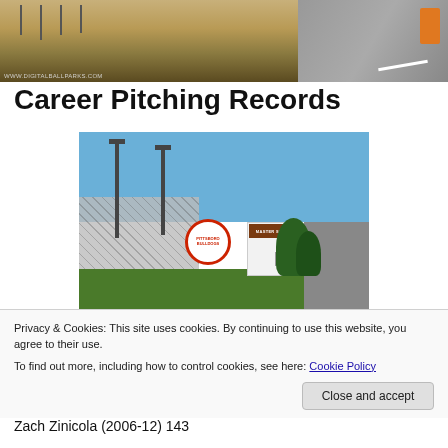[Figure (photo): Aerial/ground view of a baseball infield dirt with road and orange barrier, watermarked WWW.DIGITALBALLPARKS.COM]
Career Pitching Records
[Figure (photo): Exterior photo of Pittsboro Bulldogs stadium entrance with bleachers, light towers, ticket booth labeled 'Master Stadch', and large sign circle, trees on right, road on right side]
Privacy & Cookies: This site uses cookies. By continuing to use this website, you agree to their use.
To find out more, including how to control cookies, see here: Cookie Policy
Close and accept
Zach Zinicola (2006-12) 143